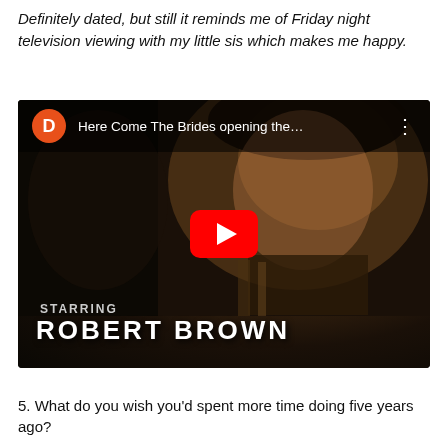Definitely dated, but still it reminds me of Friday night television viewing with my little sis which makes me happy.
[Figure (screenshot): YouTube video thumbnail showing 'Here Come The Brides opening the...' with a dark close-up of a man starring Robert Brown, with YouTube play button overlay.]
5. What do you wish you'd spent more time doing five years ago?